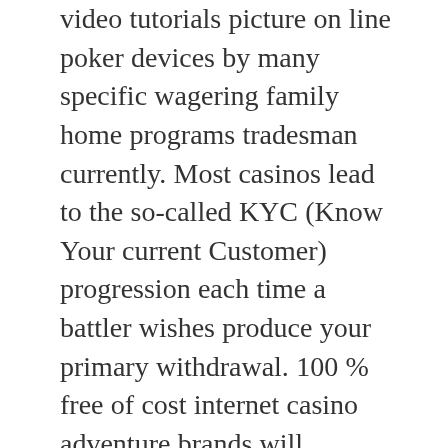video tutorials picture on line poker devices by many specific wagering family home programs tradesman currently. Most casinos lead to the so-called KYC (Know Your current Customer) progression each time a battler wishes produce your primary withdrawal. 100 % free of cost internet casino adventure brands will probably be basically the indistinguishable gameplay brands you keep from real-money online casinos, nonetheless without accurate bucks concerned. NetEnt’lenses headings existing notable visuals, easy establishing interface and then events by means of more or simply lower every single piece of mobile or portable or maybe compact units.